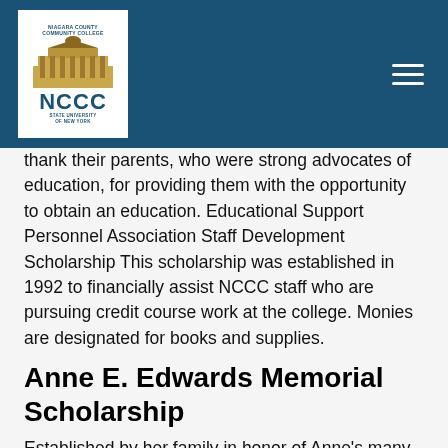[Figure (logo): NCCC (Niagara County Community College) logo with building illustration, State University of New York]
thank their parents, who were strong advocates of education, for providing them with the opportunity to obtain an education. Educational Support Personnel Association Staff Development Scholarship This scholarship was established in 1992 to financially assist NCCC staff who are pursuing credit course work at the college. Monies are designated for books and supplies.
Anne E. Edwards Memorial Scholarship
Established by her family in honor of Anne's many years of service to NCCC.